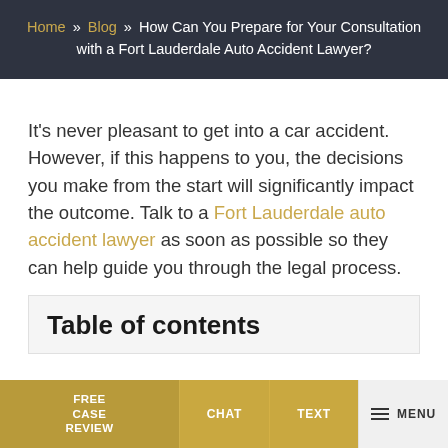Home » Blog » How Can You Prepare for Your Consultation with a Fort Lauderdale Auto Accident Lawyer?
It's never pleasant to get into a car accident. However, if this happens to you, the decisions you make from the start will significantly impact the outcome. Talk to a Fort Lauderdale auto accident lawyer as soon as possible so they can help guide you through the legal process.
Table of contents
FREE CASE REVIEW | CHAT | TEXT | MENU